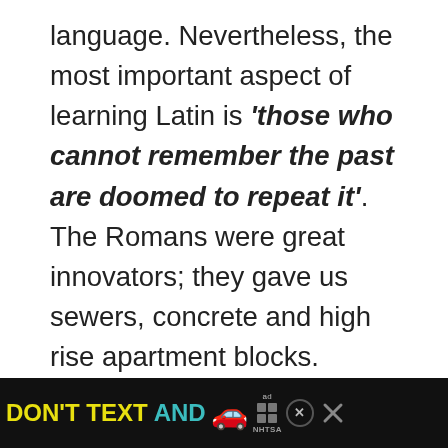language. Nevertheless, the most important aspect of learning Latin is 'those who cannot remember the past are doomed to repeat it'. The Romans were great innovators; they gave us sewers, concrete and high rise apartment blocks.
[Figure (screenshot): Screenshot showing a content area with social buttons (heart/like button with count 233, share button), a 'What's Next' widget showing SOLOSOPHIE.C..., and a banner ad at the bottom reading 'DON'T TEXT AND' with a car emoji and NHTSA branding.]